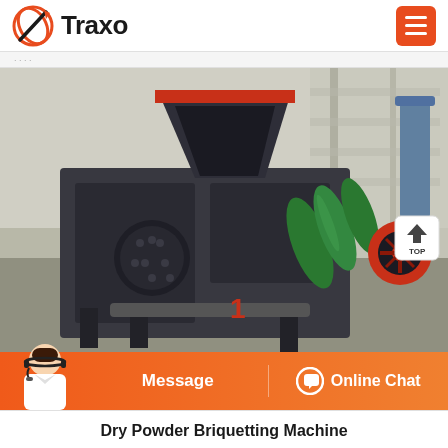Traxo
[Figure (photo): Dry Powder Briquetting Machine industrial equipment photo showing a large dark grey briquetting press with a red-trimmed hopper on top, textured press rollers, green cylindrical component, and red flywheel, set in an industrial warehouse environment. Red number '1' visible on the machine frame.]
Message   Online Chat
Dry Powder Briquetting Machine